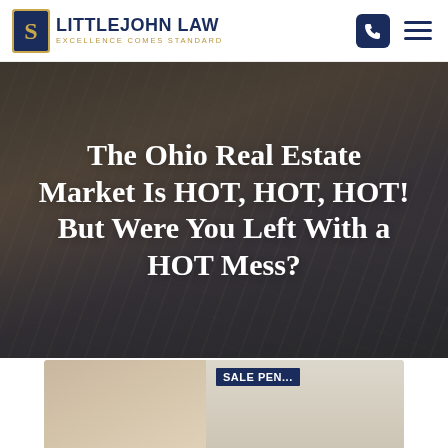LITTLEJOHN LAW — EXCELLENCE COMES STANDARD
The Ohio Real Estate Market Is HOT, HOT, HOT! But Were You Left With a HOT Mess?
[Figure (photo): Bottom portion showing a woman holding a 'SALE PENDING' sign, partially cropped]